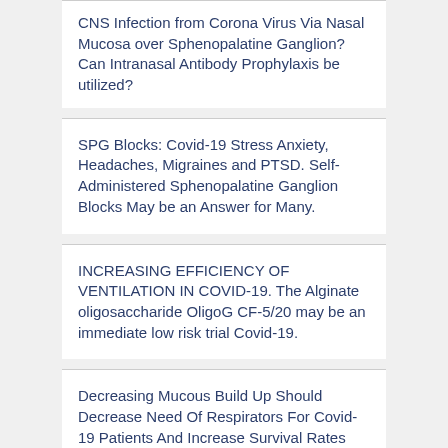CNS Infection from Corona Virus Via Nasal Mucosa over Sphenopalatine Ganglion? Can Intranasal Antibody Prophylaxis be utilized?
SPG Blocks: Covid-19 Stress Anxiety, Headaches, Migraines and PTSD. Self-Administered Sphenopalatine Ganglion Blocks May be an Answer for Many.
INCREASING EFFICIENCY OF VENTILATION IN COVID-19. The Alginate oligosaccharide OligoG CF-5/20 may be an immediate low risk trial Covid-19.
Decreasing Mucous Build Up Should Decrease Need Of Respirators For Covid-19 Patients And Increase Survival Rates